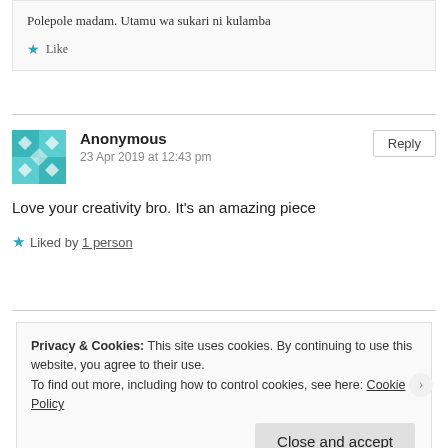Polepole madam. Utamu wa sukari ni kulamba
Like
Anonymous
23 Apr 2019 at 12:43 pm
Love your creativity bro. It’s an amazing piece
Liked by 1 person
Privacy & Cookies: This site uses cookies. By continuing to use this website, you agree to their use. To find out more, including how to control cookies, see here: Cookie Policy
Close and accept